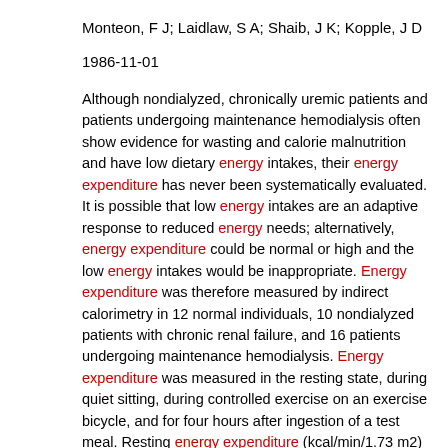Monteon, F J; Laidlaw, S A; Shaib, J K; Kopple, J D
1986-11-01
Although nondialyzed, chronically uremic patients and patients undergoing maintenance hemodialysis often show evidence for wasting and calorie malnutrition and have low dietary energy intakes, their energy expenditure has never been systematically evaluated. It is possible that low energy intakes are an adaptive response to reduced energy needs; alternatively, energy expenditure could be normal or high and the low energy intakes would be inappropriate. Energy expenditure was therefore measured by indirect calorimetry in 12 normal individuals, 10 nondialyzed patients with chronic renal failure, and 16 patients undergoing maintenance hemodialysis. Energy expenditure was measured in the resting state, during quiet sitting, during controlled exercise on an exercise bicycle, and for four hours after ingestion of a test meal. Resting energy expenditure (kcal/min/1.73 m2) in the normal subjects, chronically uremic patients and hemodialysis patients was, respectively, 0.94 +/- 0.24 (SD), 0.91 +/- 0.20, and 0.97 +/- 0.10. There was also no difference among the three groups in energy expenditure during